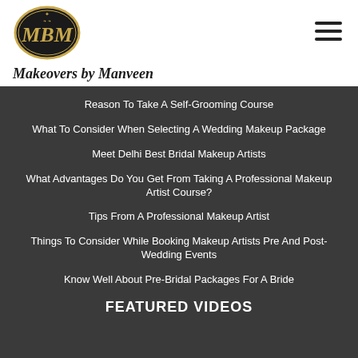[Figure (logo): MBM oval logo with gold text on black background]
Makeovers by Manveen
Reason To Take A Self-Grooming Course
What To Consider When Selecting A Wedding Makeup Package
Meet Delhi Best Bridal Makeup Artists
What Advantages Do You Get From Taking A Professional Makeup Artist Course?
Tips From A Professional Makeup Artist
Things To Consider While Booking Makeup Artists Pre And Post-Wedding Events
Know Well About Pre-Bridal Packages For A Bride
FEATURED VIDEOS